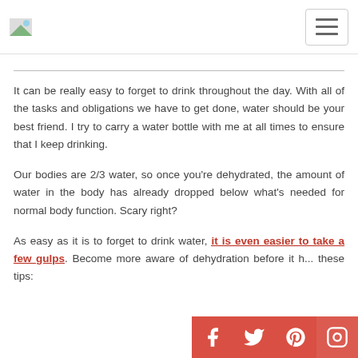[Logo] [Hamburger menu]
It can be really easy to forget to drink throughout the day. With all of the tasks and obligations we have to get done, water should be your best friend. I try to carry a water bottle with me at all times to ensure that I keep drinking.
Our bodies are 2/3 water, so once you're dehydrated, the amount of water in the body has already dropped below what's needed for normal body function. Scary right?
As easy as it is to forget to drink water, it is even easier to take a few gulps. Become more aware of dehydration before it h... these tips: